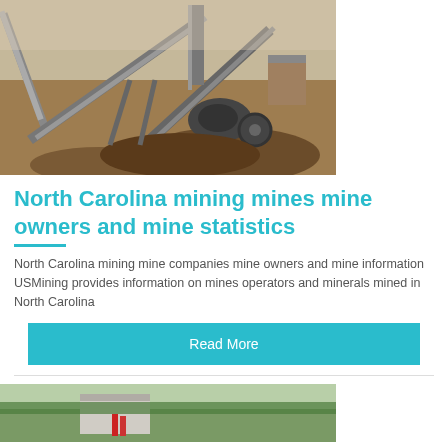[Figure (photo): Aerial view of a mining operation with conveyor belts, heavy machinery, and earth mounds on a dusty site in North Carolina.]
North Carolina mining mines mine owners and mine statistics
North Carolina mining mine companies mine owners and mine information USMining provides information on mines operators and minerals mined in North Carolina
Read More
[Figure (photo): Partial view of a mining or industrial facility with trees in background.]